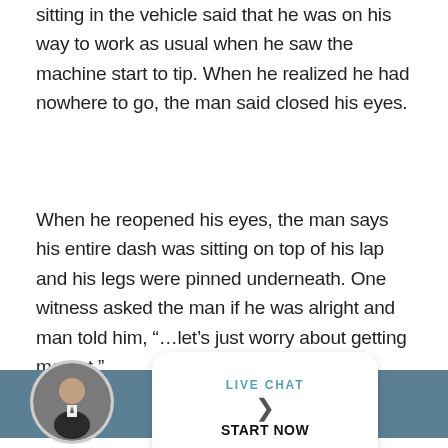sitting in the vehicle said that he was on his way to work as usual when he saw the machine start to tip. When he realized he had nowhere to go, the man said closed his eyes.
When he reopened his eyes, the man says his entire dash was sitting on top of his lap and his legs were pinned underneath. One witness asked the man if he was alright and man told him, “…let’s just worry about getting me out.”
The man was injured and taken to Forbes
as non-life-threatening
authorities. The man, a father of three and
[Figure (photo): Live chat widget overlay on the page, including a circular profile photo of a man in a suit and a white rounded-rectangle popup with 'LIVE CHAT' and 'START NOW' text over a teal/steel-blue banner bar.]